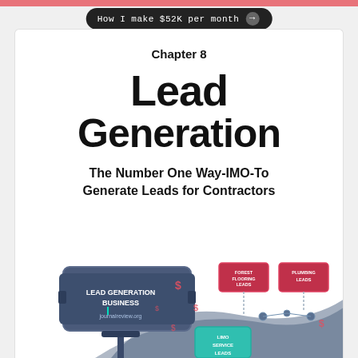How I make $52K per month →
Chapter 8
Lead Generation
The Number One Way-IMO-To Generate Leads for Contractors
[Figure (illustration): Illustration showing a lead generation business sign with 'LEAD GENERATION BUSINESS journalreview.org' on the left, and a digital/network diagram showing limo service leads and other contractor lead categories on the right, with dollar signs scattered throughout.]